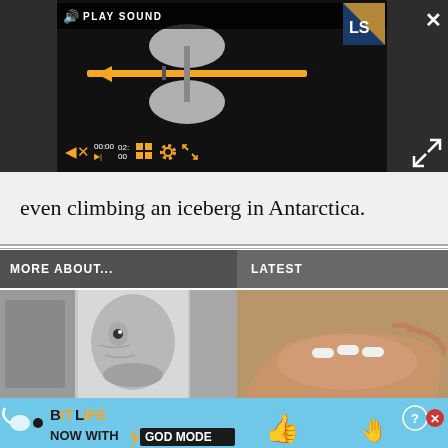[Figure (screenshot): Video player interface with play sound button, hourglass/balance scale animation on black background, LS logo, playback controls with time 00:00 / 02:00, grid, gear, and fullscreen icons. Close X and expand arrows buttons visible.]
even climbing an iceberg in Antarctica.
MORE ABOUT...
LATEST
[Figure (photo): Black and white close-up photo of a tortoise or turtle face]
[Figure (photo): A hand holding several white pills/capsules]
[Figure (screenshot): Advertisement banner for BitLife game - NOW WITH GOD MODE, with lightning bolt graphic and cartoon hands]